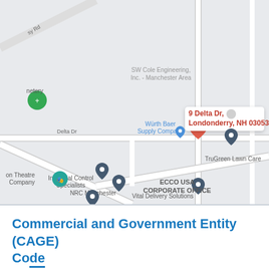[Figure (map): Google Maps screenshot showing the area around 9 Delta Dr, Londonderry, NH 03053. Visible landmarks include SW Cole Engineering Inc - Manchester Area, Würth Baer Supply Company, TruGreen Lawn Care, Industrial Control Specialists, ECCO USA Corporate Office, NRC Manchester, Vital Delivery Solutions, and a cemetery. Roads including Delta Dr are visible.]
Commercial and Government Entity (CAGE) Code